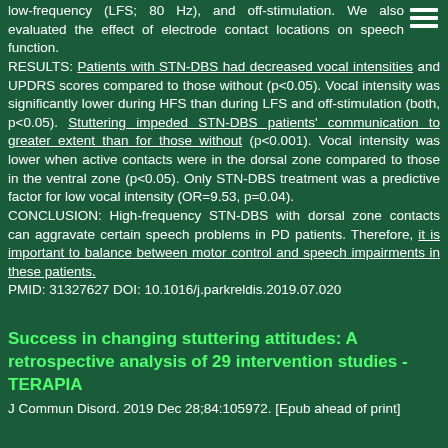low-frequency (LFS; 80 Hz), and off-stimulation. We also evaluated the effect of electrode contact locations on speech function. RESULTS: Patients with STN-DBS had decreased vocal intensities and UPDRS scores compared to those without (p<0.05). Vocal intensity was significantly lower during HFS than during LFS and off-stimulation (both, p<0.05). Stuttering impeded STN-DBS patients' communication to greater extent than for those without (p<0.001). Vocal intensity was lower when active contacts were in the dorsal zone compared to those in the ventral zone (p<0.05). Only STN-DBS treatment was a predictive factor for low vocal intensity (OR=9.53, p=0.04). CONCLUSION: High-frequency STN-DBS with dorsal zone contacts can aggravate certain speech problems in PD patients. Therefore, it is important to balance between motor control and speech impairments in these patients. PMID: 31327627 DOI: 10.1016/j.parkreldis.2019.07.020
Success in changing stuttering attitudes: A retrospective analysis of 29 intervention studies - TERAPIA
J Commun Disord. 2019 Dec 28;84:105972. [Epub ahead of print]
Sto...